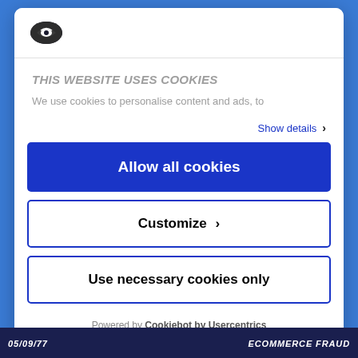[Figure (logo): Cookiebot shield/cookie logo icon in dark color]
THIS WEBSITE USES COOKIES
We use cookies to personalise content and ads, to
Show details ›
Allow all cookies
Customize ›
Use necessary cookies only
Powered by Cookiebot by Usercentrics
05/09/77   ECOMMERCE FRAUD